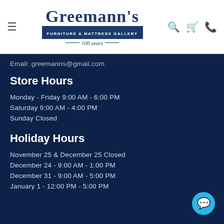[Figure (logo): Greemann's Furniture & Mattress Gallery logo with '100 years' tagline]
Email: greemanns@gmail.com
Store Hours
Monday - Friday 9:00 AM - 6:00 PM
Saturday 9:00 AM - 4:00 PM
Sunday Closed
Holiday Hours
November 25 & December 25 Closed
December 24 - 9:00 AM - 1:00 PM
December 31 - 9:00 AM - 5:00 PM
January 1 - 12:00 PM - 5:00 PM